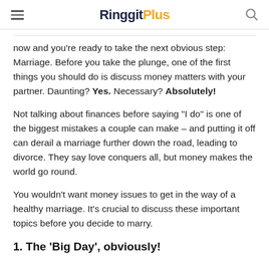RinggitPlus
now and you’re ready to take the next obvious step: Marriage. Before you take the plunge, one of the first things you should do is discuss money matters with your partner. Daunting? Yes. Necessary? Absolutely!
Not talking about finances before saying “I do” is one of the biggest mistakes a couple can make – and putting it off can derail a marriage further down the road, leading to divorce. They say love conquers all, but money makes the world go round.
You wouldn’t want money issues to get in the way of a healthy marriage. It’s crucial to discuss these important topics before you decide to marry.
1. The ‘Big Day’, obviously!